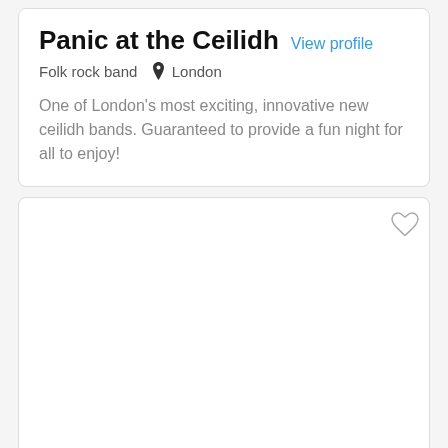Panic at the Ceilidh
View profile
Folk rock band  London
One of London's most exciting, innovative new ceilidh bands. Guaranteed to provide a fun night for all to enjoy!
[Figure (illustration): Empty card panel with a heart (favorite) icon in the top right corner]